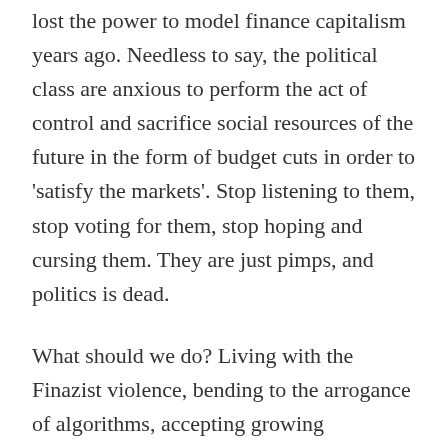lost the power to model finance capitalism years ago. Needless to say, the political class are anxious to perform the act of control and sacrifice social resources of the future in the form of budget cuts in order to 'satisfy the markets'. Stop listening to them, stop voting for them, stop hoping and cursing them. They are just pimps, and politics is dead.
What should we do? Living with the Finazist violence, bending to the arrogance of algorithms, accepting growing exploitation and declining salaries? Nope. Let's fight against Finazism because it is never too late. At the moment Finazism is winning for two reasons. First, because we have lost the pleasure of being together. Thirty years of precariousness and competition have destroyed social solidarity. Media is to distraction by...